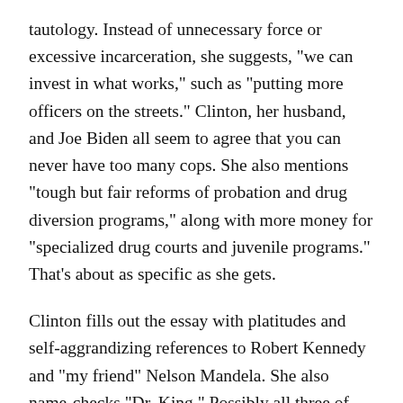tautology. Instead of unnecessary force or excessive incarceration, she suggests, "we can invest in what works," such as "putting more officers on the streets." Clinton, her husband, and Joe Biden all seem to agree that you can never have too many cops. She also mentions "tough but fair reforms of probation and drug diversion programs," along with more money for "specialized drug courts and juvenile programs." That's about as specific as she gets.
Clinton fills out the essay with platitudes and self-aggrandizing references to Robert Kennedy and "my friend" Nelson Mandela. She also name-checks "Dr. King." Possibly all three of these men have something to do with criminal justice reform, but if so Clinton never bothers to elucidate the connections. It is sad that the Democratic Party's presumptive presidential nominee would offer such a shallow discussion of a subject on which Democrats are